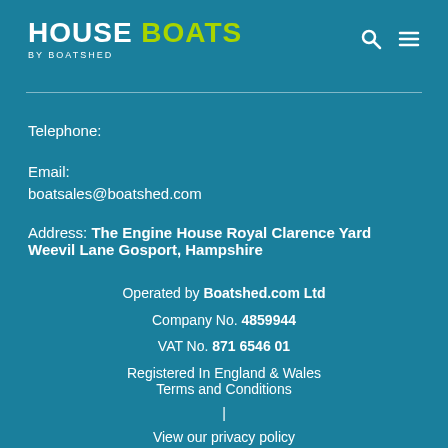HOUSE BOATS BY BOATSHED
Telephone:
Email:
boatsales@boatshed.com
Address: The Engine House Royal Clarence Yard Weevil Lane Gosport, Hampshire
Operated by Boatshed.com Ltd
Company No. 4859944
VAT No. 871 6546 01
Registered In England & Wales
Terms and Conditions
|
View our privacy policy
|